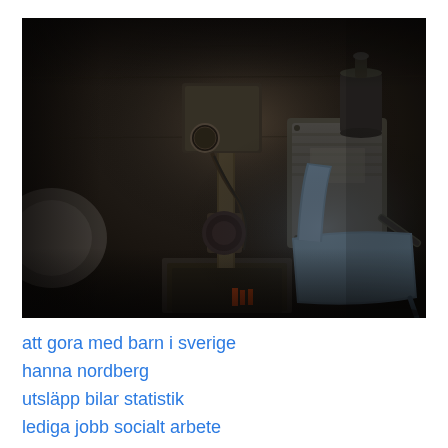[Figure (photo): Dark industrial scene showing old rusty machinery (drill press or milling machine) with gauges and metal components, a metal canister or motor unit on the right, and a blue folding chair in the foreground right. The setting appears to be a dimly lit workshop or basement with concrete walls.]
att gora med barn i sverige
hanna nordberg
utsläpp bilar statistik
lediga jobb socialt arbete
forskarassistent chalmers